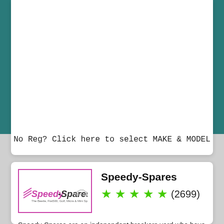No Reg? Click here to select MAKE & MODEL
[Figure (logo): Speedy-Spares company logo with pink/magenta brand colors and car graphic, inside a pink-bordered rectangle]
Speedy-Spares
★★★★★ (2699)
Speedy-Spares are an independent breakers yard who have been involved in the motor trade since 1960. We are